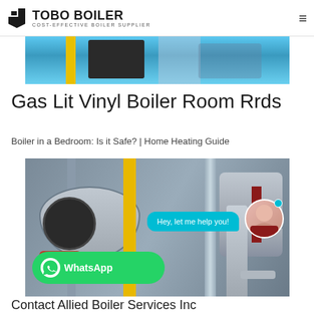TOBO BOILER | COST-EFFECTIVE BOILER SUPPLIER
[Figure (photo): Top strip photo of industrial boiler room with blue equipment and yellow pipes]
Gas Lit Vinyl Boiler Room Rrds
Boiler in a Bedroom: Is it Safe? | Home Heating Guide
[Figure (photo): Industrial gas boiler photo with yellow vertical pipe, red burner component, silver insulated tanks, and WhatsApp chat widget overlay showing 'Hey, let me help you!' and a woman avatar]
Contact Allied Boiler Services Inc